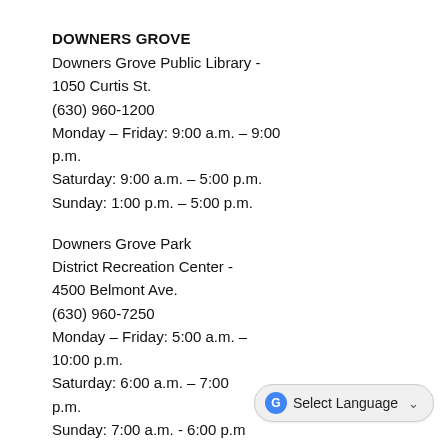DOWNERS GROVE
Downers Grove Public Library - 1050 Curtis St.
(630) 960-1200
Monday – Friday: 9:00 a.m. – 9:00 p.m.
Saturday: 9:00 a.m. – 5:00 p.m.
Sunday: 1:00 p.m. – 5:00 p.m.
Downers Grove Park District Recreation Center - 4500 Belmont Ave.
(630) 960-7250
Monday – Friday: 5:00 a.m. – 10:00 p.m.
Saturday: 6:00 a.m. – 7:00 p.m.
Sunday: 7:00 a.m. - 6:00 p.m
Also, please click the link below